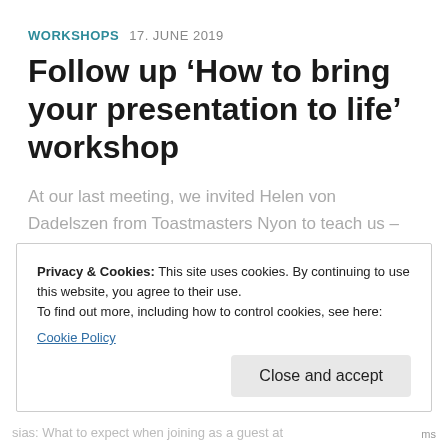WORKSHOPS 17. JUNE 2019
Follow up ‘How to bring your presentation to life’ workshop
At our last meeting, we invited Helen von Dadelszen from Toastmasters Nyon to teach us – and make us practice – about voice variation, body language, and stage presence. After walking confidently using the...
Privacy & Cookies: This site uses cookies. By continuing to use this website, you agree to their use.
To find out more, including how to control cookies, see here:
Cookie Policy
Close and accept
sias: What to expect when joining as a guest at